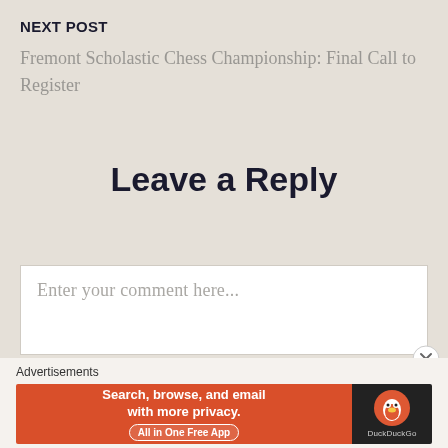NEXT POST
Fremont Scholastic Chess Championship: Final Call to Register
Leave a Reply
Enter your comment here...
Advertisements
[Figure (screenshot): DuckDuckGo advertisement banner: orange left side with text 'Search, browse, and email with more privacy. All in One Free App', dark right side with DuckDuckGo duck logo and brand name.]